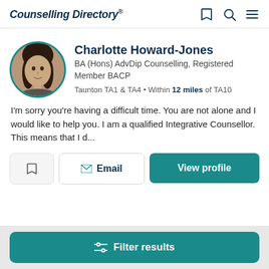Counselling Directory
Charlotte Howard-Jones
BA (Hons) AdvDip Counselling, Registered Member BACP
Taunton TA1 & TA4 • Within 12 miles of TA10
I'm sorry you're having a difficult time. You are not alone and I would like to help you. I am a qualified Integrative Counsellor. This means that I d...
Email | View profile
Filter results